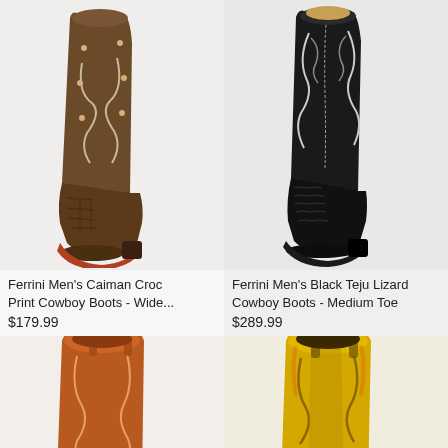[Figure (photo): Brown caiman croc print cowboy boot with decorative stitching and studs, wide square toe]
Ferrini Men's Caiman Croc Print Cowboy Boots - Wide...
$179.99
[Figure (photo): Black Teju lizard cowboy boot with ornate silver and black stitching, medium toe]
Ferrini Men's Black Teju Lizard Cowboy Boots - Medium Toe
$289.99
[Figure (photo): Partial view of a brown/cognac cowboy boot top, cropped at bottom of page]
[Figure (photo): Partial view of a yellow/gold cowboy boot top, cropped at bottom of page]